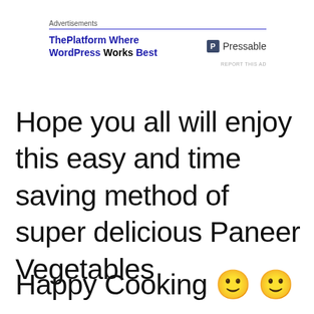[Figure (other): Advertisement banner: ThePlatform Where WordPress Works Best — Pressable logo with blue P icon. 'REPORT THIS AD' link below.]
Hope you all will enjoy this easy and time saving method of super delicious Paneer Vegetables
Happy Cooking 🙂 🙂